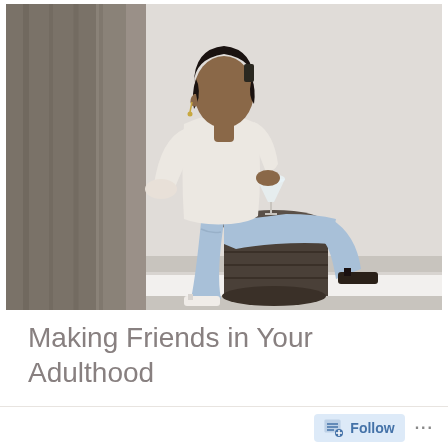[Figure (photo): A woman wearing a light cream button-up blouse and light blue jeans sits on a dark woven stool, holding a wine glass. She wears white and dark sandals. Behind her is a gray curtain on the left and a beige/white wall on the right with white baseboard trim. She has short dark hair and is posing casually.]
Making Friends in Your Adulthood
Follow ...